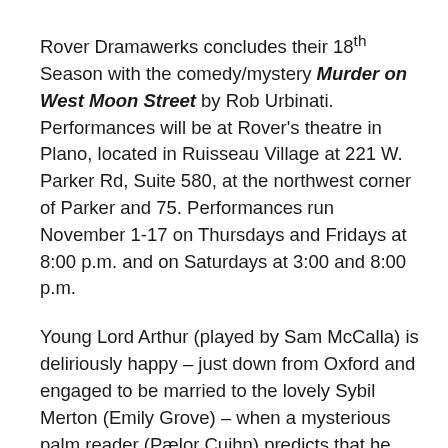Rover Dramawerks concludes their 18th Season with the comedy/mystery Murder on West Moon Street by Rob Urbinati. Performances will be at Rover's theatre in Plano, located in Ruisseau Village at 221 W. Parker Rd, Suite 580, at the northwest corner of Parker and 75. Performances run November 1-17 on Thursdays and Fridays at 8:00 p.m. and on Saturdays at 3:00 and 8:00 p.m.
Young Lord Arthur (played by Sam McCalla) is deliriously happy – just down from Oxford and engaged to be married to the lovely Sybil Merton (Emily Grove) – when a mysterious palm reader (Pælor Cuihn) predicts that he will commit a murder. A proper English gentleman, Arthur